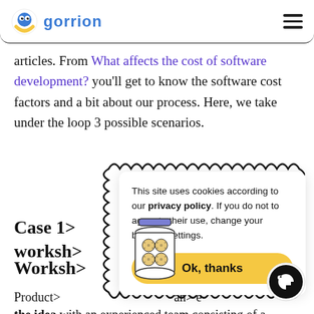gorrion
articles. From What affects the cost of software development? you'll get to know the software cost factors and a bit about our process. Here, we take under the loop 3 possible scenarios.
[Figure (illustration): Cookie consent popup overlay with a cookies jar illustration and wavy/scalloped decorative border. Contains text: 'This site uses cookies according to our privacy policy. If you do not to agree to their use, change your browser settings.' with an 'Ok, thanks' button.]
Case 1: ... re the worksh...
Works...
Product... and the idea with an experienced team consisting of a